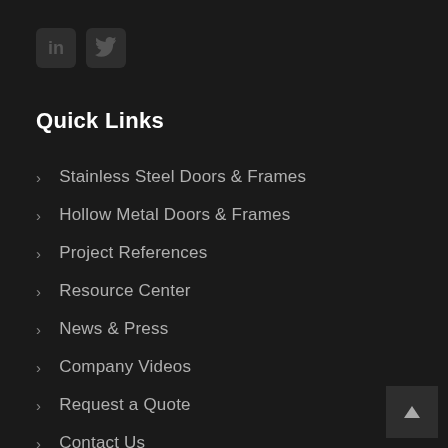[Figure (logo): LinkedIn and Twitter social media icon buttons on dark background]
Quick Links
Stainless Steel Doors & Frames
Hollow Metal Doors & Frames
Project References
Resource Center
News & Press
Company Videos
Request a Quote
Contact Us